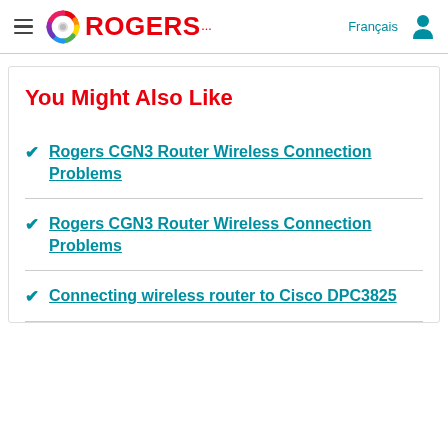Rogers — Français
You Might Also Like
Rogers CGN3 Router Wireless Connection Problems
Rogers CGN3 Router Wireless Connection Problems
Connecting wireless router to Cisco DPC3825